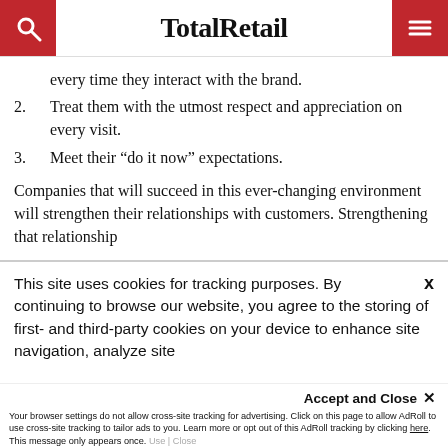TotalRetail
every time they interact with the brand.
2. Treat them with the utmost respect and appreciation on every visit.
3. Meet their “do it now” expectations.
Companies that will succeed in this ever-changing environment will strengthen their relationships with customers. Strengthening that relationship
This site uses cookies for tracking purposes. By continuing to browse our website, you agree to the storing of first- and third-party cookies on your device to enhance site navigation, analyze site
usage, and assist in our marketing and
Accept and Close ×
Your browser settings do not allow cross-site tracking for advertising. Click on this page to allow AdRoll to use cross-site tracking to tailor ads to you. Learn more or opt out of this AdRoll tracking by clicking here. This message only appears once.